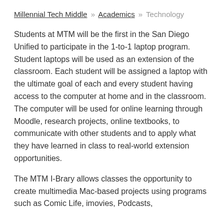Millennial Tech Middle » Academics » Technology
Students at MTM will be the first in the San Diego Unified to participate in the 1-to-1 laptop program. Student laptops will be used as an extension of the classroom. Each student will be assigned a laptop with the ultimate goal of each and every student having access to the computer at home and in the classroom. The computer will be used for online learning through Moodle, research projects, online textbooks, to communicate with other students and to apply what they have learned in class to real-world extension opportunities.
The MTM I-Brary allows classes the opportunity to create multimedia Mac-based projects using programs such as Comic Life, imovies, Podcasts,